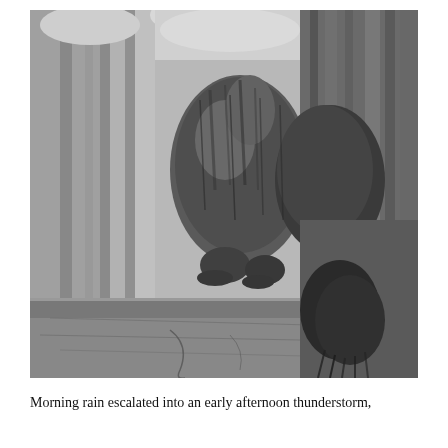[Figure (photo): Black and white photograph of a large furry animal, likely a marmot or groundhog, standing upright against wooden fence planks. The animal is viewed from behind/side, showing its thick fur coat. The lower portion shows wooden planks or steps.]
Morning rain escalated into an early afternoon thunderstorm,